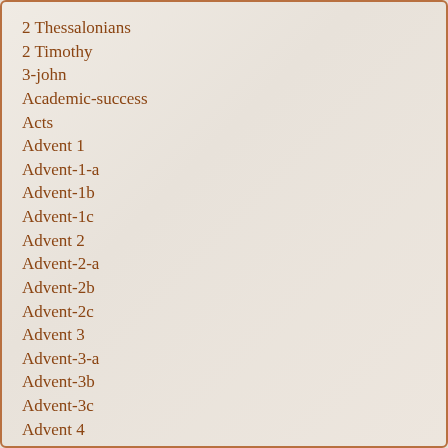2 Thessalonians
2 Timothy
3-john
Academic-success
Acts
Advent 1
Advent-1-a
Advent-1b
Advent-1c
Advent 2
Advent-2-a
Advent-2b
Advent-2c
Advent 3
Advent-3-a
Advent-3b
Advent-3c
Advent 4
Advent-4-a